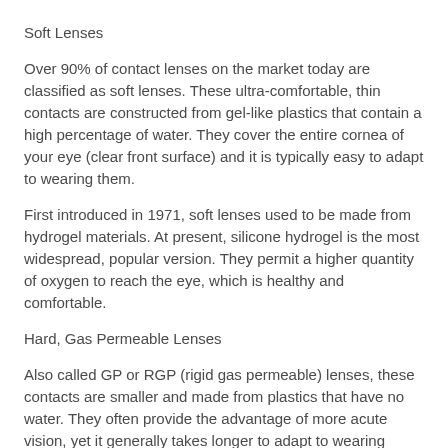Soft Lenses
Over 90% of contact lenses on the market today are classified as soft lenses. These ultra-comfortable, thin contacts are constructed from gel-like plastics that contain a high percentage of water. They cover the entire cornea of your eye (clear front surface) and it is typically easy to adapt to wearing them.
First introduced in 1971, soft lenses used to be made from hydrogel materials. At present, silicone hydrogel is the most widespread, popular version. They permit a higher quantity of oxygen to reach the eye, which is healthy and comfortable.
Hard, Gas Permeable Lenses
Also called GP or RGP (rigid gas permeable) lenses, these contacts are smaller and made from plastics that have no water. They often provide the advantage of more acute vision, yet it generally takes longer to adapt to wearing them.
Hybrid Lenses